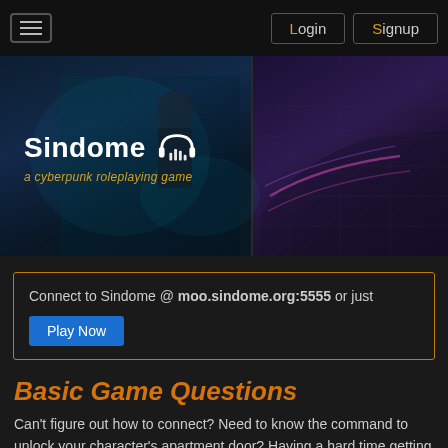Sindome — Login | Signup
[Figure (screenshot): Cyberpunk hero banner with Sindome logo and subtitle 'a cyberpunk roleplaying game' overlaid on dark sci-fi imagery showing a character in futuristic cityscape]
Connect to Sindome @ moo.sindome.org:5555 or just Play Now
Basic Game Questions
Can't figure out how to connect? Need to know the command to unlock your character's apartment door? Having a hard time getting a response from the bartender? Well, just take a look, I'm sure we